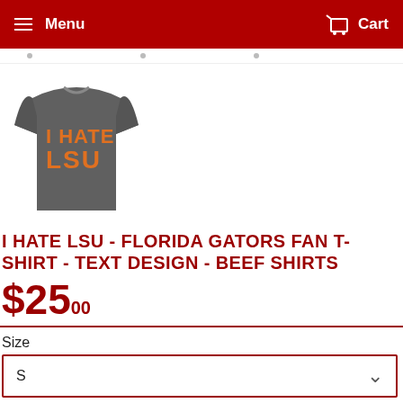Menu  Cart
[Figure (photo): Gray t-shirt with orange text reading 'I HATE LSU']
I HATE LSU - FLORIDA GATORS FAN T-SHIRT - TEXT DESIGN - BEEF SHIRTS
$25.00
Size
S